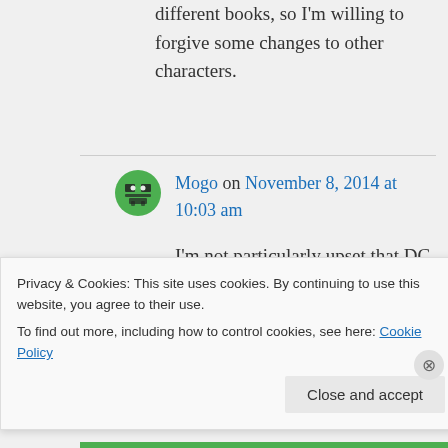different books, so I'm willing to forgive some changes to other characters.
Mogo on November 8, 2014 at 10:03 am
I'm not particularly upset that DC is making books here and there that aren't for me:
Privacy & Cookies: This site uses cookies. By continuing to use this website, you agree to their use.
To find out more, including how to control cookies, see here: Cookie Policy